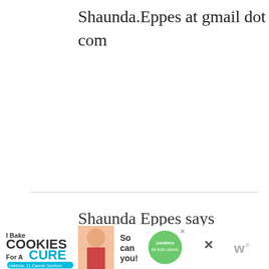Shaunda.Eppes at gmail dot com
Shaunda Eppes says
November 11, 2010 at 8:04 pm
Entered Carmex twitter giveaway
[Figure (other): Advertisement banner: I Bake COOKIES For A CURE (Haldora, 11 Cancer Survivor) — So can you! cookies for kids cancer — with close buttons and logo]